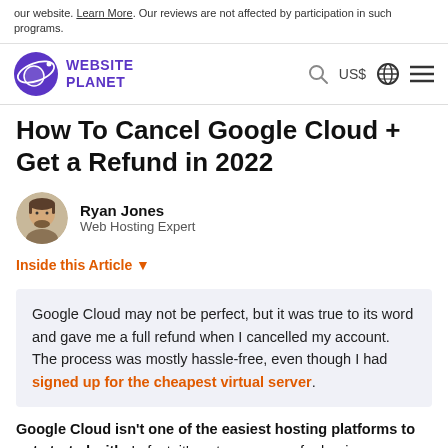our website. Learn More. Our reviews are not affected by participation in such programs.
Website Planet — US$ — [search] [globe] [menu]
How To Cancel Google Cloud + Get a Refund in 2022
Ryan Jones
Web Hosting Expert
Inside this Article ▼
Google Cloud may not be perfect, but it was true to its word and gave me a full refund when I cancelled my account. The process was mostly hassle-free, even though I had signed up for the cheapest virtual server.
Google Cloud isn't one of the easiest hosting platforms to get started with. In fact, it's not uncommon for beginners